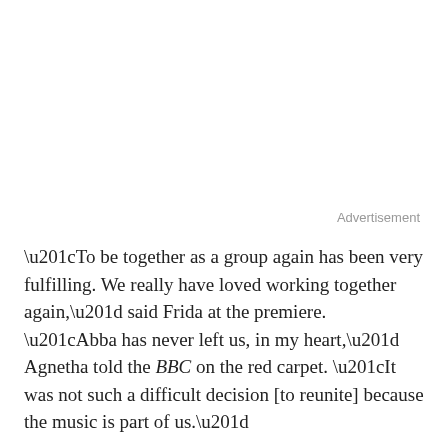Advertisement
“To be together as a group again has been very fulfilling. We really have loved working together again,” said Frida at the premiere.  “Abba has never left us, in my heart,” Agnetha told the BBC on the red carpet. “It was not such a difficult decision [to reunite] because the music is part of us.”
“The most overwhelming feeling I have after tonight’s performance is that the audience totally connected